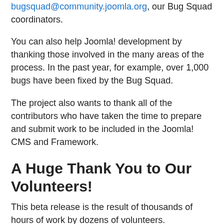bugsquad@community.joomla.org, our Bug Squad coordinators.
You can also help Joomla! development by thanking those involved in the many areas of the process. In the past year, for example, over 1,000 bugs have been fixed by the Bug Squad.
The project also wants to thank all of the contributors who have taken the time to prepare and submit work to be included in the Joomla! CMS and Framework.
A Huge Thank You to Our Volunteers!
This beta release is the result of thousands of hours of work by dozens of volunteers.
A big thank you goes out to everyone that contributed to the 3.5 release! Right now we're over 1,200 commits since 3.4.5's release with over 110 people contributing to those commits (not including testers and other non-coding activities). Best of all is that the new features are awesome!